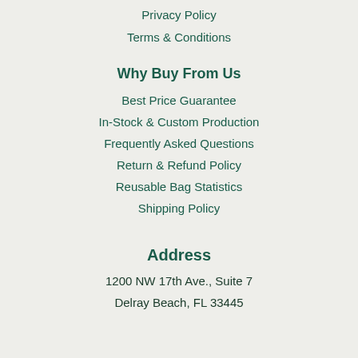Privacy Policy
Terms & Conditions
Why Buy From Us
Best Price Guarantee
In-Stock & Custom Production
Frequently Asked Questions
Return & Refund Policy
Reusable Bag Statistics
Shipping Policy
Address
1200 NW 17th Ave., Suite 7
Delray Beach, FL 33445